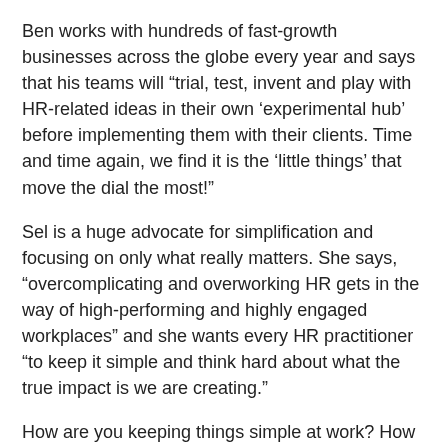Ben works with hundreds of fast-growth businesses across the globe every year and says that his teams will “trial, test, invent and play with HR-related ideas in their own ‘experimental hub’ before implementing them with their clients. Time and time again, we find it is the ‘little things’ that move the dial the most!”
Sel is a huge advocate for simplification and focusing on only what really matters. She says, “overcomplicating and overworking HR gets in the way of high-performing and highly engaged workplaces” and she wants every HR practitioner “to keep it simple and think hard about what the true impact is we are creating.”
How are you keeping things simple at work? How are you making complicated tasks less complex?
Please join @shrmnextchat at 3 p.m. ET on August 21 or #Nextchat with Ben Watts (@wattsnextBen) and Sue-Ellen “Sel” Watts (@SEL_Watts). We’ll chat about the simple and authentic actions—the ‘little things’—that make workplaces special and how are you infusing these experiences into